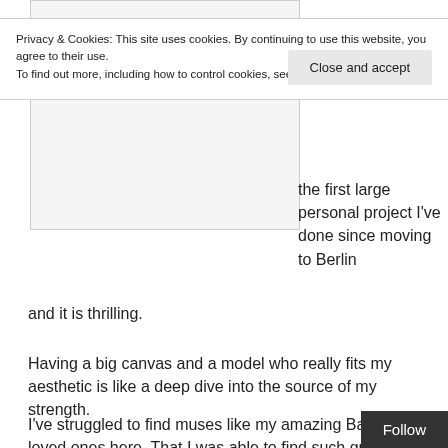Privacy & Cookies: This site uses cookies. By continuing to use this website, you agree to their use.
To find out more, including how to control cookies, see here: Cookie Policy
Close and accept
[Figure (photo): Image placeholder with light gray background and border]
the first large personal project I've done since moving to Berlin and it is thrilling.
Having a big canvas and a model who really fits my aesthetic is like a deep dive into the source of my strength.
I've struggled to find muses like my amazing Bay Area loved ones here. That I was able to find such great working chemistry with such gorgeous and powerful people s like a miracle to me now. That so many made time t